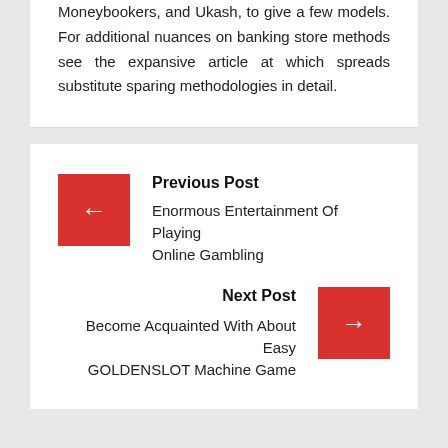Moneybookers, and Ukash, to give a few models. For additional nuances on banking store methods see the expansive article at which spreads substitute sparing methodologies in detail.
Previous Post
Enormous Entertainment Of Playing Online Gambling
Next Post
Become Acquainted With About Easy GOLDENSLOT Machine Game
Related Post